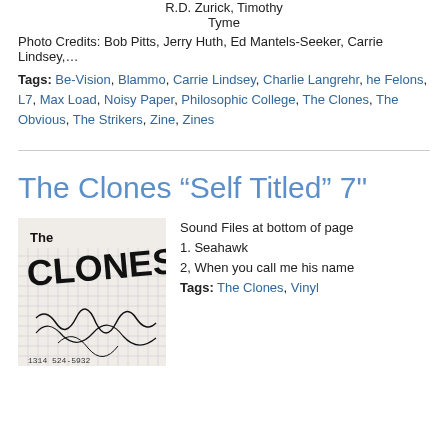R.D. Zurick, Timothy Tyme
Photo Credits: Bob Pitts, Jerry Huth, Ed Mantels-Seeker, Carrie Lindsey,…
Tags: Be-Vision, Blammo, Carrie Lindsey, Charlie Langrehr, he Felons, L7, Max Load, Noisy Paper, Philosophic College, The Clones, The Obvious, The Strikers, Zine, Zines
The Clones "Self Titled" 7"
[Figure (photo): Black and white image of The Clones vinyl record cover showing 'The CLONES' text over a grid background with handwritten/drawn elements and phone number 1314 524-5932]
Sound Files at bottom of page
1. Seahawk
2, When you call me his name
Tags: The Clones, Vinyl